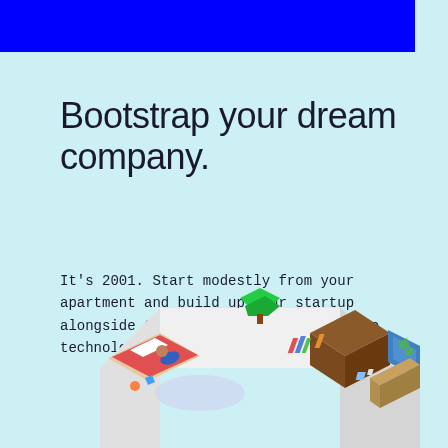[Figure (other): Blue rectangular banner bar at top of page]
Bootstrap your dream company.
It's 2001. Start modestly from your apartment and build up your startup alongside the major players and future technology behemoths.
[Figure (illustration): Isometric illustration of an apartment/office interior with furniture including a bed, bookshelves, a world map on wall, and various room elements, shown from an angled top-down perspective]